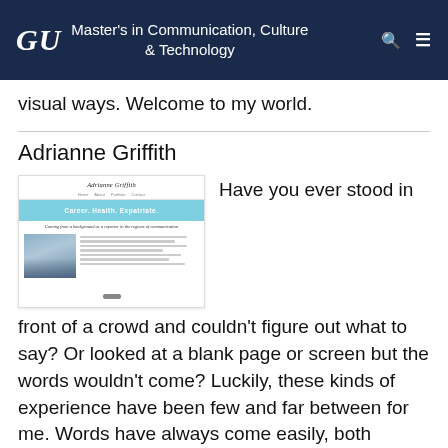GU Master's in Communication, Culture & Technology
visual ways. Welcome to my world.
Adrianne Griffith
[Figure (screenshot): Screenshot of Adrianne Griffith's personal website showing her name, navigation links, a teal hero banner reading 'Career. Health. Expatriate.', a tagline about coming from a background as a reporter, a photo of a woman, and body text.]
Have you ever stood in front of a crowd and couldn't figure out what to say? Or looked at a blank page or screen but the words wouldn't come? Luckily, these kinds of experience have been few and far between for me. Words have always come easily, both verbally